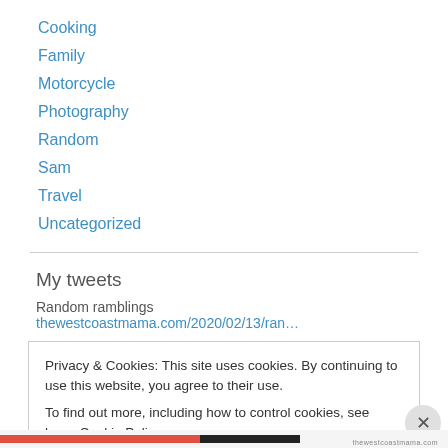Cooking
Family
Motorcycle
Photography
Random
Sam
Travel
Uncategorized
My tweets
Random ramblings thewestcoastmama.com/2020/02/13/ran…
Privacy & Cookies: This site uses cookies. By continuing to use this website, you agree to their use.
To find out more, including how to control cookies, see here: Cookie Policy
Close and accept